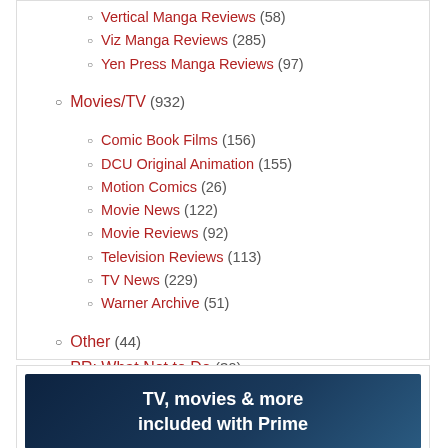Vertical Manga Reviews (58)
Viz Manga Reviews (285)
Yen Press Manga Reviews (97)
Movies/TV (932)
Comic Book Films (156)
DCU Original Animation (155)
Motion Comics (26)
Movie News (122)
Movie Reviews (92)
Television Reviews (113)
TV News (229)
Warner Archive (51)
Other (44)
PR: What Not to Do (30)
[Figure (photo): Amazon Prime banner advertisement showing text: TV, movies & more included with Prime]